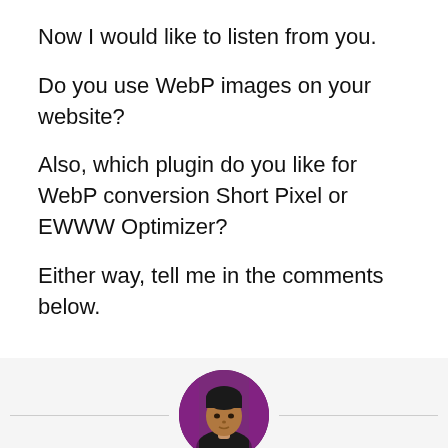Now I would like to listen from you.
Do you use WebP images on your website?
Also, which plugin do you like for WebP conversion Short Pixel or EWWW Optimizer?
Either way, tell me in the comments below.
[Figure (photo): Circular profile photo of Digital Nishant, a young man wearing a dark shirt, with a purple/magenta curtain background]
Digital Nishant